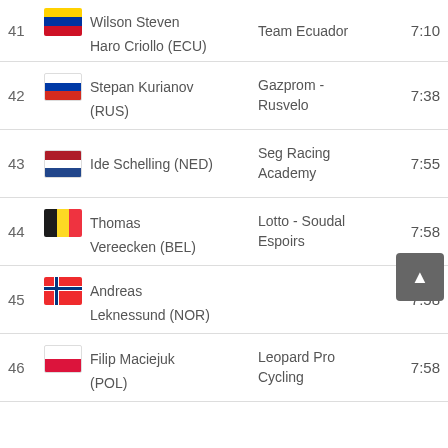| Rank | Rider | Team | Time |
| --- | --- | --- | --- |
| 41 | Wilson Steven Haro Criollo (ECU) | Team Ecuador | 7:10 |
| 42 | Stepan Kurianov (RUS) | Gazprom - Rusvelo | 7:38 |
| 43 | Ide Schelling (NED) | Seg Racing Academy | 7:55 |
| 44 | Thomas Vereecken (BEL) | Lotto - Soudal Espoirs | 7:58 |
| 45 | Andreas Leknessund (NOR) |  | 7:58 |
| 46 | Filip Maciejuk (POL) | Leopard Pro Cycling | 7:58 |